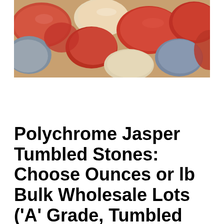[Figure (photo): Close-up photograph of polished tumbled stones in various colors including red/orange, gray, and cream/beige tones — polychrome jasper tumbled stones]
Polychrome Jasper Tumbled Stones: Choose Ounces or lb Bulk Wholesale Lots ('A' Grade, Tumbled Polychrome Jasper, Tumbled Desert